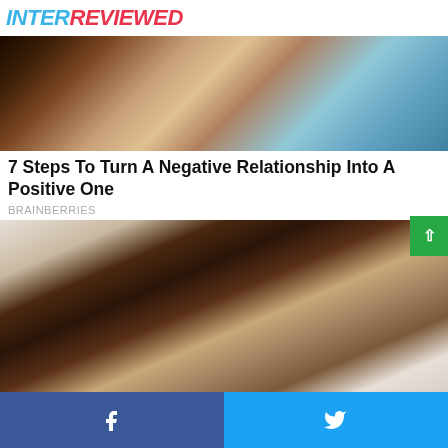[Figure (logo): INTERREVIEWED logo in italic bold font, INTER in blue, REVIEWED in red]
[Figure (photo): Close-up photo of a person's back/shoulder area near a beach]
7 Steps To Turn A Negative Relationship Into A Positive One
BRAINBERRIES
[Figure (photo): Close-up photo of a pregnant woman's belly with hands cradling it, wearing a grey hoodie, red nail polish]
[Figure (other): Green scroll-to-top button with upward arrow]
[Figure (other): Social sharing bar with Facebook (blue) and Twitter (light blue) icons]